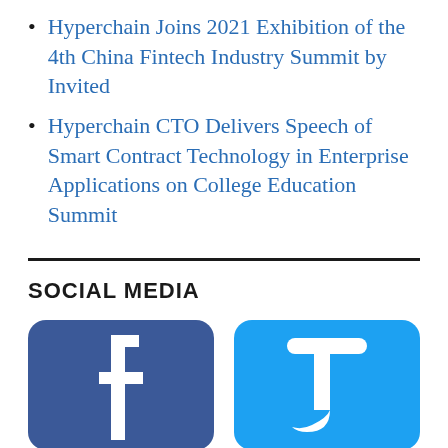Hyperchain Joins 2021 Exhibition of the 4th China Fintech Industry Summit by Invited
Hyperchain CTO Delivers Speech of Smart Contract Technology in Enterprise Applications on College Education Summit
SOCIAL MEDIA
[Figure (logo): Facebook logo icon — blue rounded square with white 'f' lettermark]
[Figure (logo): Twitter logo icon — light blue rounded square with white bird/letter 't' mark]